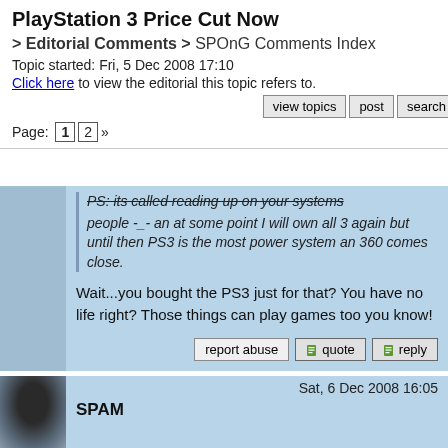PlayStation 3 Price Cut Now
> Editorial Comments > SPOnG Comments Index
Topic started: Fri, 5 Dec 2008 17:10
Click here to view the editorial this topic refers to.
view topics | post | search
Page: 1 2 »
PS: its called reading up on your systems people -_- an at some point I will own all 3 again but until then PS3 is the most power system an 360 comes close.
Wait...you bought the PS3 just for that? You have no life right? Those things can play games too you know!
report abuse | quote | reply
Sat, 6 Dec 2008 16:05
SPAM